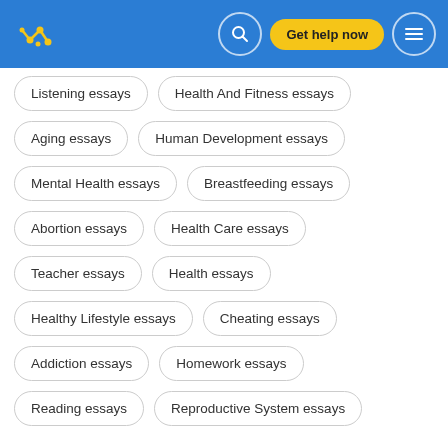Get help now
Listening essays
Health And Fitness essays
Aging essays
Human Development essays
Mental Health essays
Breastfeeding essays
Abortion essays
Health Care essays
Teacher essays
Health essays
Healthy Lifestyle essays
Cheating essays
Addiction essays
Homework essays
Reading essays
Reproductive System essays